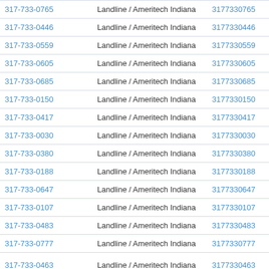| Phone | Type | Number | Action |
| --- | --- | --- | --- |
| 317-733-0765 | Landline / Ameritech Indiana | 3177330765 | View R |
| 317-733-0446 | Landline / Ameritech Indiana | 3177330446 | View R |
| 317-733-0559 | Landline / Ameritech Indiana | 3177330559 | View R |
| 317-733-0605 | Landline / Ameritech Indiana | 3177330605 | View R |
| 317-733-0685 | Landline / Ameritech Indiana | 3177330685 | View R |
| 317-733-0150 | Landline / Ameritech Indiana | 3177330150 | View R |
| 317-733-0417 | Landline / Ameritech Indiana | 3177330417 | View R |
| 317-733-0030 | Landline / Ameritech Indiana | 3177330030 | View R |
| 317-733-0380 | Landline / Ameritech Indiana | 3177330380 | View R |
| 317-733-0188 | Landline / Ameritech Indiana | 3177330188 | View R |
| 317-733-0647 | Landline / Ameritech Indiana | 3177330647 | View R |
| 317-733-0107 | Landline / Ameritech Indiana | 3177330107 | View R |
| 317-733-0483 | Landline / Ameritech Indiana | 3177330483 | View R |
| 317-733-0777 | Landline / Ameritech Indiana | 3177330777 | View R |
| 317-733-0463 | Landline / Ameritech Indiana | 3177330463 | ▲ v R |
| 317-733-0838 | Landline / Ameritech Indiana | 3177330838 | .ew R |
| 317-733-0856 | Landline / Ameritech Indiana | 3177330856 | View R |
| 317-733-0612 | Landline / Ameritech Indiana | 3177330612 | View R |